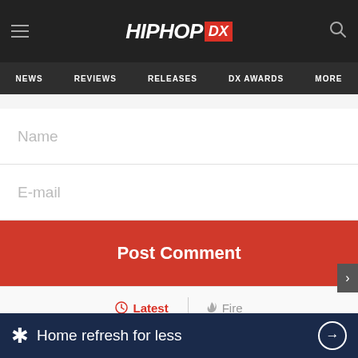HipHopDX — NEWS | REVIEWS | RELEASES | DX AWARDS | MORE
Name
E-mail
Post Comment
Latest | Fire
ReyRey
Make ... ce
Home refresh for less